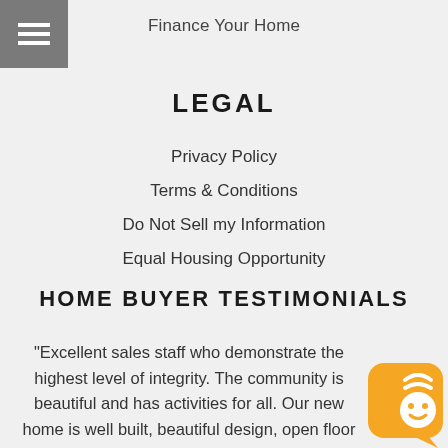Finance Your Home
LEGAL
Privacy Policy
Terms & Conditions
Do Not Sell my Information
Equal Housing Opportunity
HOME BUYER TESTIMONIALS
"Excellent sales staff who demonstrate the highest level of integrity. The community is beautiful and has activities for all. Our new home is well built, beautiful design, open floor plan & tons of storage space. We're thrilled!"
[Figure (other): Orange chatbot widget icon in bottom-right corner showing a robot face with wifi symbol]